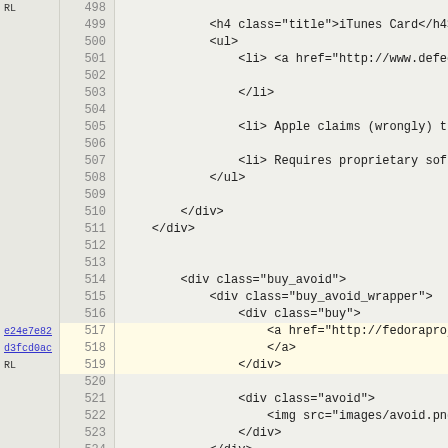Code viewer showing HTML source lines 498-530 with line numbers and gutter annotations. Lines 517-519 are annotated with 'e24e7e82', 'd3fcd0ac', 'RL' in blue/underlined text in the gutter. The code shows HTML structure including h4, ul, li elements, div elements with classes: buy_avoid, buy_avoid_wrapper, buy, avoid, and comparisons.